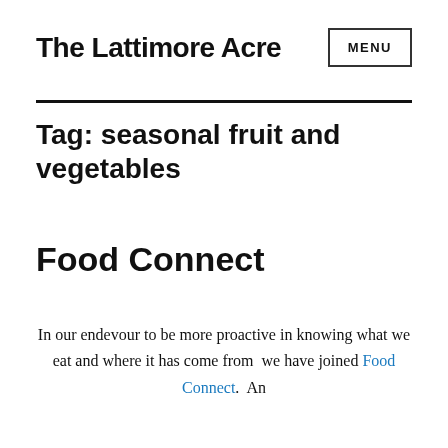The Lattimore Acre
Tag: seasonal fruit and vegetables
Food Connect
In our endevour to be more proactive in knowing what we eat and where it has come from  we have joined Food Connect.  An